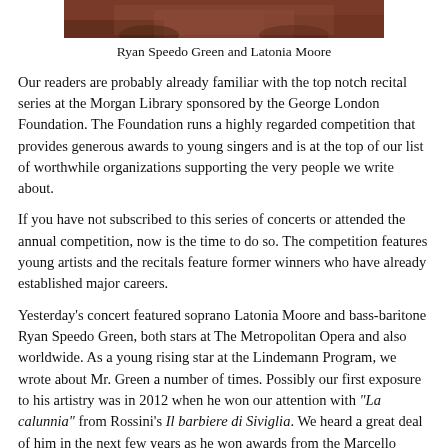[Figure (photo): Photograph of Ryan Speedo Green and Latonia Moore, two opera singers, cropped at top]
Ryan Speedo Green and Latonia Moore
Our readers are probably already familiar with the top notch recital series at the Morgan Library sponsored by the George London Foundation. The Foundation runs a highly regarded competition that provides generous awards to young singers and is at the top of our list of worthwhile organizations supporting the very people we write about.
If you have not subscribed to this series of concerts or attended the annual competition, now is the time to do so. The competition features young artists and the recitals feature former winners who have already established major careers.
Yesterday's concert featured soprano Latonia Moore and bass-baritone Ryan Speedo Green, both stars at The Metropolitan Opera and also worldwide. As a young rising star at the Lindemann Program, we wrote about Mr. Green a number of times. Possibly our first exposure to his artistry was in 2012 when he won our attention with "La calunnia" from Rossini's Il barbiere di Siviglia. We heard a great deal of him in the next few years as he won awards from the Marcello Giordani Foundation, Opera Index, The Richard Tucker Foundation, and of course the George London Foundation. One might say he took the opera world by storm.
Strictly because of our taste, we have always preferred his comic